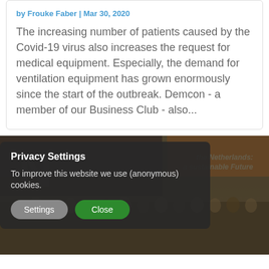by Frouke Faber | Mar 30, 2020
The increasing number of patients caused by the Covid-19 virus also increases the request for medical equipment. Especially, the demand for ventilation equipment has grown enormously since the start of the outbreak. Demcon - a member of our Business Club - also...
[Figure (photo): A large group photo of people standing together at an event, with an orange banner in the top right that reads 'the Netherlands: a sustainable Future'. A dark privacy settings modal overlay is displayed on the left side of the photo.]
Privacy Settings
To improve this website we use (anonymous) cookies.
Settings
Close